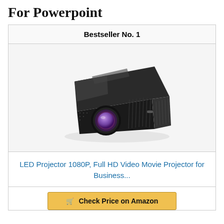For Powerpoint
Bestseller No. 1
[Figure (photo): Black LED projector product photo, angled front view showing lens and body]
LED Projector 1080P, Full HD Video Movie Projector for Business...
Check Price on Amazon